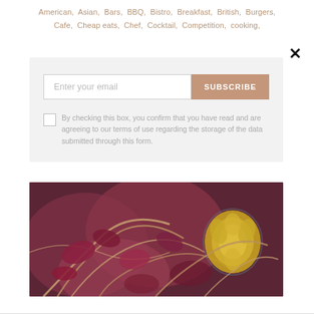American, Asian, Bars, BBQ, Bistro, Breakfast, British, Burgers, Cafe, Cheap eats, Chef, Cocktail, Competition, cooking,
×
Enter your email  SUBSCRIBE
By checking this box, you confirm that you have read and are agreeing to our terms of use regarding the storage of the data submitted through this form.
[Figure (photo): Close-up photo of dark red/purple succulent plant with tangled brown stems and a yellow flower/succulent on the right side]